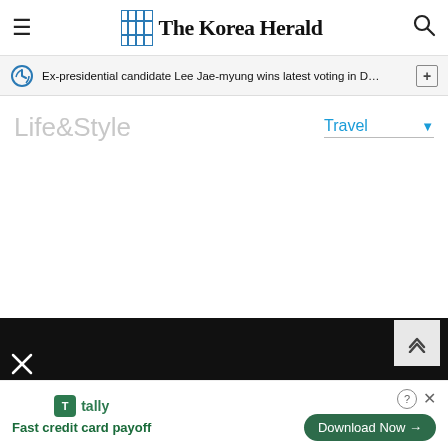The Korea Herald
Ex-presidential candidate Lee Jae-myung wins latest voting in D…
Life&Style
Travel
[Figure (screenshot): Empty white content area below the Life&Style section header, representing an unloaded page section]
[Figure (screenshot): Black advertisement banner bar at the bottom with close X button and scroll-to-top arrow button]
tally Fast credit card payoff Download Now →